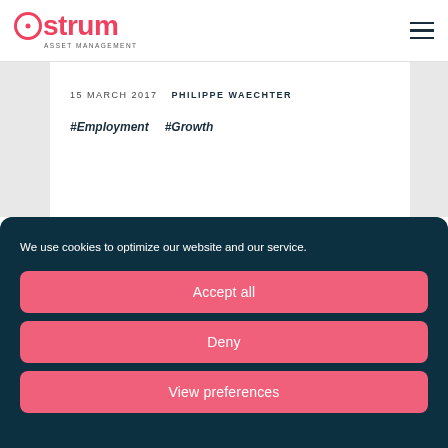Ostrum Asset Management
15 MARCH 2017   PHILIPPE WAECHTER
#Employment   #Growth
We use cookies to optimize our website and our service.
Accept all
Deny
View preferences